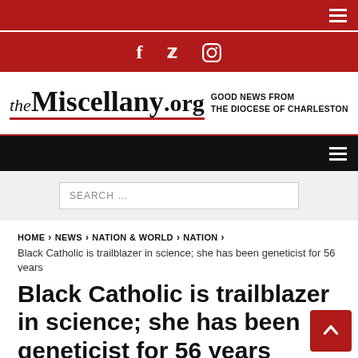theMiscellany.org — GOOD NEWS FROM THE DIOCESE OF CHARLESTON
SEARCH …
HOME > NEWS > NATION & WORLD > NATION > Black Catholic is trailblazer in science; she has been geneticist for 56 years
Black Catholic is trailblazer in science; she has been geneticist for 56 years